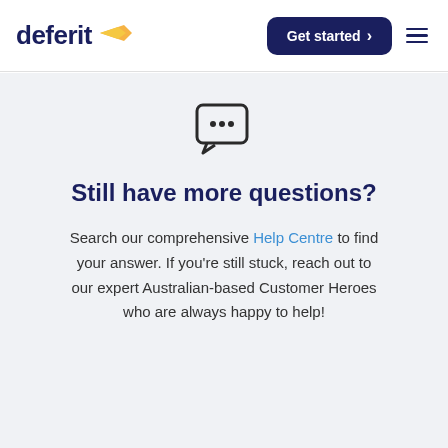deferit | Get started
[Figure (illustration): Chat bubble icon with three dots inside]
Still have more questions?
Search our comprehensive Help Centre to find your answer. If you’re still stuck, reach out to our expert Australian-based Customer Heroes who are always happy to help!